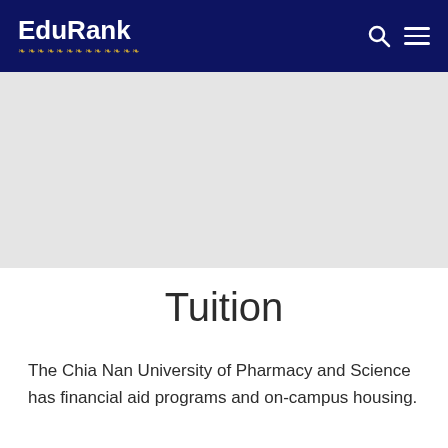EduRank
[Figure (other): Gray hero/banner image area placeholder]
Tuition
The Chia Nan University of Pharmacy and Science has financial aid programs and on-campus housing.